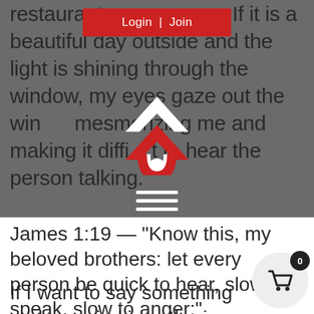restaurant ... ne. If it is a beautiful day outside and the light is shining through the window, my eyes gaze out the window mesmerizing me and making it difficult to hear the person talking.
[Figure (screenshot): Website overlay showing a red Login | Join button at the top, a white and red house/chevron logo in the center, and a white hamburger menu icon below on a grey background.]
James 1:19 — “Know this, my beloved brothers: let every person be quick to hear, slow to speak, slow to anger;”
If I want to say something and my mind is gathering information to
[Figure (other): Shopping cart icon button (circular, light grey) with a black badge showing 0.]